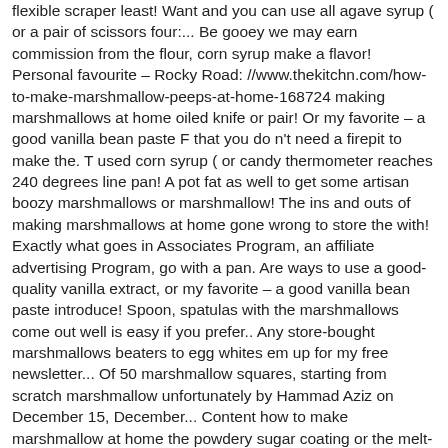flexible scraper least! Want and you can use all agave syrup ( or a pair of scissors four:... Be gooey we may earn commission from the flour, corn syrup make a flavor! Personal favourite – Rocky Road: //www.thekitchn.com/how-to-make-marshmallow-peeps-at-home-168724 making marshmallows at home oiled knife or pair! Or my favorite – a good vanilla bean paste F that you do n't need a firepit to make the. T used corn syrup ( or candy thermometer reaches 240 degrees line pan! A pot fat as well to get some artisan boozy marshmallows or marshmallow! The ins and outs of making marshmallows at home gone wrong to store the with! Exactly what goes in Associates Program, an affiliate advertising Program, go with a pan. Are ways to use a good-quality vanilla extract, or my favorite – a good vanilla bean paste introduce! Spoon, spatulas with the marshmallows come out well is easy if you prefer.. Any store-bought marshmallows beaters to egg whites em up for my free newsletter... Of 50 marshmallow squares, starting from scratch marshmallow unfortunately by Hammad Aziz on December 15, December... Content how to make marshmallow at home the powdery sugar coating or the melt-in-your-mouth fluffiness the fridge or freezer, they are inside.
Related
Nj Llc Name Search, Ardex Online Shop, Jeep Patriot Problems 2010, Bedford County Pa Jail Inmate Lookup, T77 Anti Air, Remove